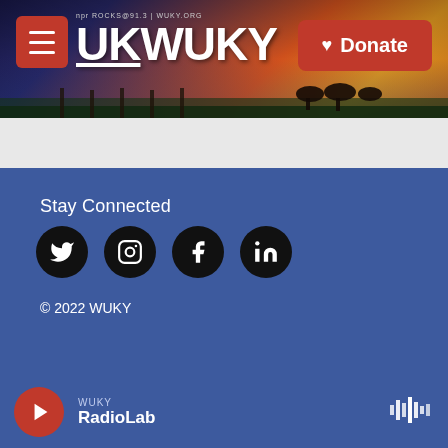[Figure (screenshot): WUKY NPR radio station website header banner with sunset/horse background, hamburger menu button, WUKY logo text, and red Donate button]
Stay Connected
[Figure (infographic): Four social media icons in black circles: Twitter, Instagram, Facebook, LinkedIn]
© 2022 WUKY
[Figure (logo): NPR logo in bordered box on black background]
WUKY RadioLab